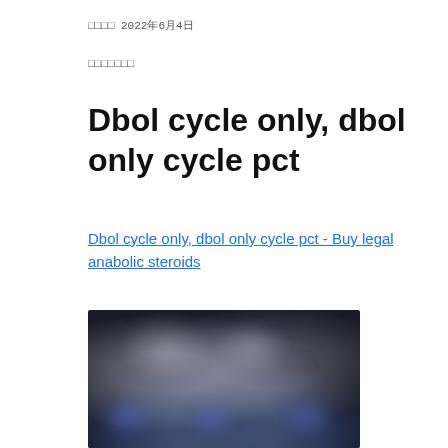□□□□ 2022年6月4日
□□□□□□□
Dbol cycle only, dbol only cycle pct
Dbol cycle only, dbol only cycle pct - Buy legal anabolic steroids
[Figure (photo): Dark background photo showing blurred gym/supplement product imagery with blurred figures and product containers at bottom]